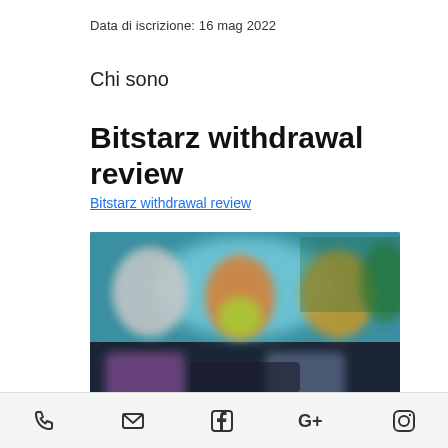Data di iscrizione: 16 mag 2022
Chi sono
Bitstarz withdrawal review
Bitstarz withdrawal review
[Figure (screenshot): Blurred screenshot of a gaming/casino website interface with colorful characters and dark background]
Phone, Email, Facebook, Google+, Instagram icons